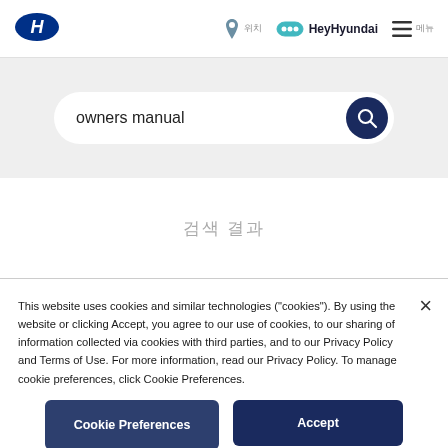[Figure (logo): Hyundai H logo in blue oval]
HeyHyundai  ☰
[Figure (screenshot): Search bar with text 'owners manual' and dark blue search button]
검색 결과
This website uses cookies and similar technologies ("cookies"). By using the website or clicking Accept, you agree to our use of cookies, to our sharing of information collected via cookies with third parties, and to our Privacy Policy and Terms of Use. For more information, read our Privacy Policy. To manage cookie preferences, click Cookie Preferences.
Cookie Preferences
Accept